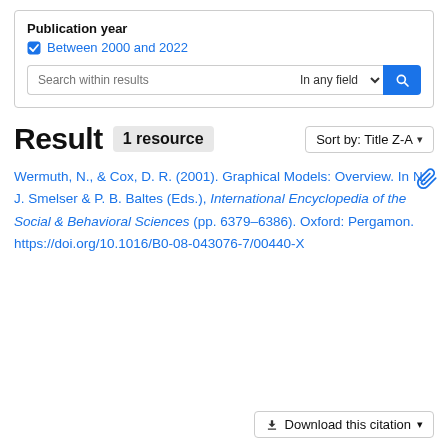Publication year
☑ Between 2000 and 2022
[Figure (screenshot): Search within results input box with 'In any field' dropdown and blue search button]
Result  1 resource  Sort by: Title Z-A
Wermuth, N., & Cox, D. R. (2001). Graphical Models: Overview. In N. J. Smelser & P. B. Baltes (Eds.), International Encyclopedia of the Social & Behavioral Sciences (pp. 6379–6386). Oxford: Pergamon. https://doi.org/10.1016/B0-08-043076-7/00440-X
⬇ Download this citation ▾